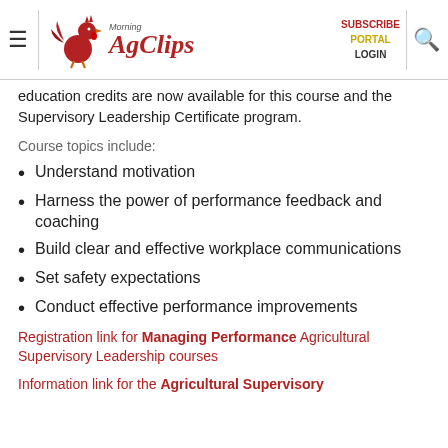Morning AgClips — SUBSCRIBE PORTAL LOGIN
education credits are now available for this course and the Supervisory Leadership Certificate program.
Course topics include:
Understand motivation
Harness the power of performance feedback and coaching
Build clear and effective workplace communications
Set safety expectations
Conduct effective performance improvements
Registration link for Managing Performance Agricultural Supervisory Leadership courses
Information link for the Agricultural Supervisory